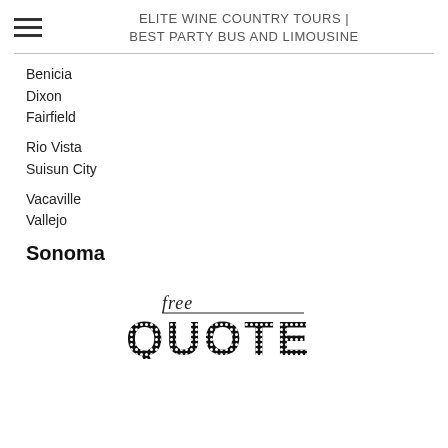ELITE WINE COUNTRY TOURS | BEST PARTY BUS AND LIMOUSINE
Benicia
Dixon
Fairfield
Rio Vista
Suisun City
Vacaville
Vallejo
Sonoma
[Figure (other): Free Quote graphic with italic 'free' script text above a bold 'QUOTE' text with dotted/textured pattern]